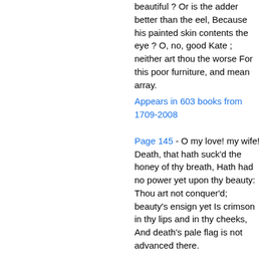beautiful ? Or is the adder better than the eel, Because his painted skin contents the eye ? O, no, good Kate ; neither art thou the worse For this poor furniture, and mean array.
Appears in 603 books from 1709-2008
Page 145 - O my love! my wife! Death, that hath suck'd the honey of thy breath, Hath had no power yet upon thy beauty: Thou art not conquer'd; beauty's ensign yet Is crimson in thy lips and in thy cheeks, And death's pale flag is not advanced there.